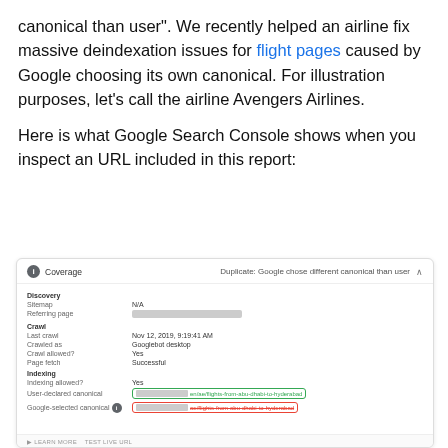canonical than user". We recently helped an airline fix massive deindexation issues for flight pages caused by Google choosing its own canonical. For illustration purposes, let's call the airline Avengers Airlines.
Here is what Google Search Console shows when you inspect an URL included in this report:
[Figure (screenshot): Google Search Console screenshot showing URL inspection panel with Coverage status 'Duplicate: Google chose different canonical than user'. Shows Discovery (Sitemap: N/A, Referring page: [redacted bar]), Crawl (Last crawl: Nov 12, 2019, 9:19:41 AM, Crawled as: Googlebot desktop, Crawl allowed?: Yes, Page fetch: Successful), Indexing (Indexing allowed?: Yes, User-declared canonical: [gray bar] en/ae/flights-from-abu-dhabi-to-hyderabad (green border), Google-selected canonical: [gray bar] ae/flights-from-abu-dhabi-to-hyderabad (red border with strikethrough text)).]